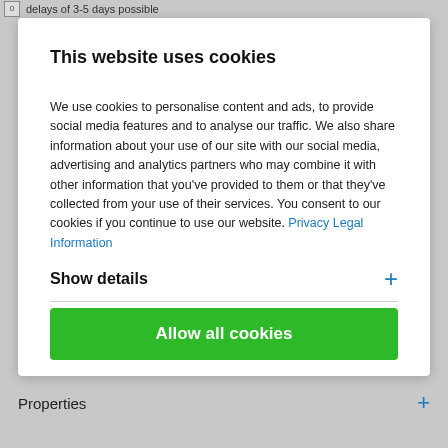delays of 3-5 days possible
This website uses cookies
We use cookies to personalise content and ads, to provide social media features and to analyse our traffic. We also share information about your use of our site with our social media, advertising and analytics partners who may combine it with other information that you've provided to them or that they've collected from your use of their services. You consent to our cookies if you continue to use our website. Privacy Legal Information
Show details
Allow all cookies
Properties